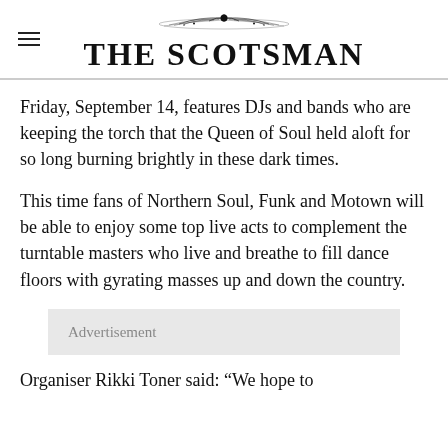THE SCOTSMAN
Friday, September 14, features DJs and bands who are keeping the torch that the Queen of Soul held aloft for so long burning brightly in these dark times.
This time fans of Northern Soul, Funk and Motown will be able to enjoy some top live acts to complement the turntable masters who live and breathe to fill dance floors with gyrating masses up and down the country.
Advertisement
Organiser Rikki Toner said: “We hope to